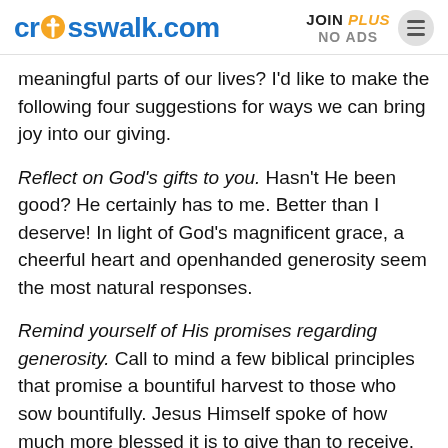crosswalk.com | JOIN PLUS NO ADS
meaningful parts of our lives? I'd like to make the following four suggestions for ways we can bring joy into our giving.
Reflect on God's gifts to you. Hasn't He been good? He certainly has to me. Better than I deserve! In light of God's magnificent grace, a cheerful heart and openhanded generosity seem the most natural responses.
Remind yourself of His promises regarding generosity. Call to mind a few biblical principles that promise a bountiful harvest to those who sow bountifully. Jesus Himself spoke of how much more blessed it is to give than to receive. Bumper crops are God's specialties, so we have nothing to restrain